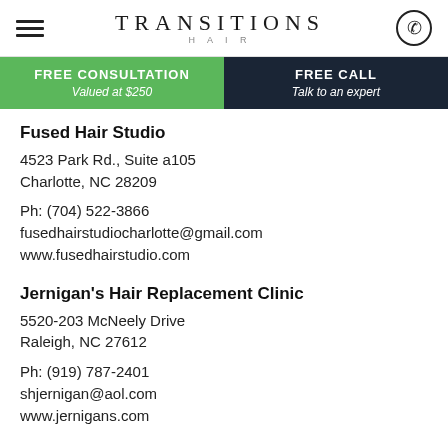TRANSITIONS HAIR
FREE CONSULTATION
Valued at $250
FREE CALL
Talk to an expert
Fused Hair Studio
4523 Park Rd., Suite a105
Charlotte, NC 28209
Ph: (704) 522-3866
fusedhairstudiocharlotte@gmail.com
www.fusedhairstudio.com
Jernigan's Hair Replacement Clinic
5520-203 McNeely Drive
Raleigh, NC 27612
Ph: (919) 787-2401
shjernigan@aol.com
www.jernigans.com